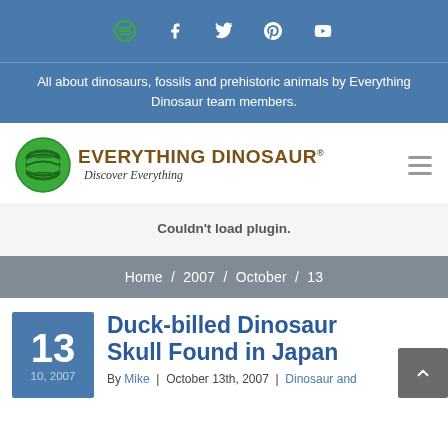Navigation bar with social/menu icons
All about dinosaurs, fossils and prehistoric animals by Everything Dinosaur team members.
[Figure (logo): Everything Dinosaur logo with green E circle icon and tagline 'Discover Everything']
Couldn't load plugin.
Home / 2007 / October / 13
Duck-billed Dinosaur Skull Found in Japan
By Mike | October 13th, 2007 | Dinosaur and